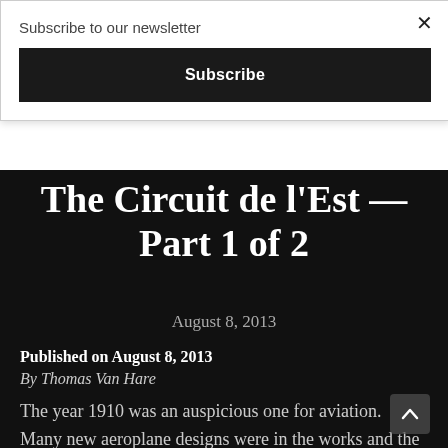Subscribe to our newsletter
Subscribe
The Circuit de l'Est — Part 1 of 2
August 8, 2013
Published on August 8, 2013
By Thomas Van Hare
The year 1910 was an auspicious one for aviation.  Many new aeroplane designs were in the works and the early models of